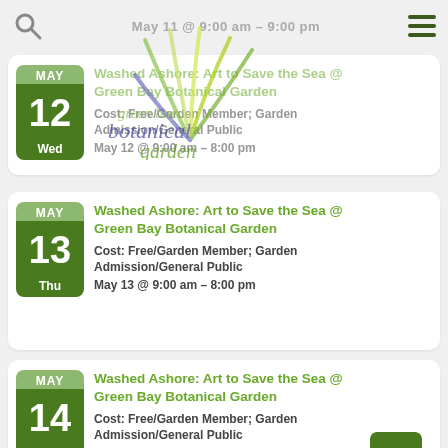May 11 @ 9:00 am – 9:00 pm
Washed Ashore: Art to Save the Sea @ Green Bay Botanical Garden
Cost: Free/Garden Member; Garden Admission/General Public
May 12 @ 9:00 am – 8:00 pm
Washed Ashore: Art to Save the Sea @ Green Bay Botanical Garden
Cost: Free/Garden Member; Garden Admission/General Public
May 13 @ 9:00 am – 8:00 pm
Washed Ashore: Art to Save the Sea @ Green Bay Botanical Garden
Cost: Free/Garden Member; Garden Admission/General Public
May 14 @ 9:00 am – 8:00 pm